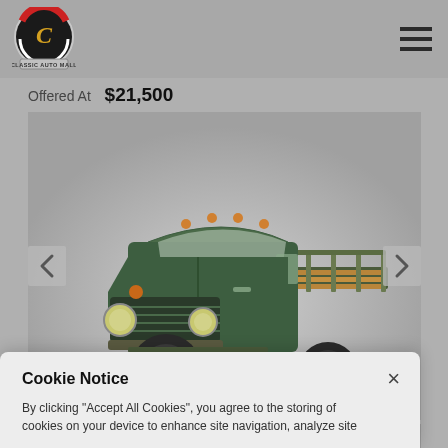[Figure (logo): Classic Auto Mall logo - circular emblem with stylized C and banner]
Offered At  $21,500
[Figure (photo): Vintage dark green Dodge flatbed/stake truck with wooden bed sides, three-quarter front view on gray background]
Cookie Notice
By clicking "Accept All Cookies", you agree to the storing of cookies on your device to enhance site navigation, analyze site...